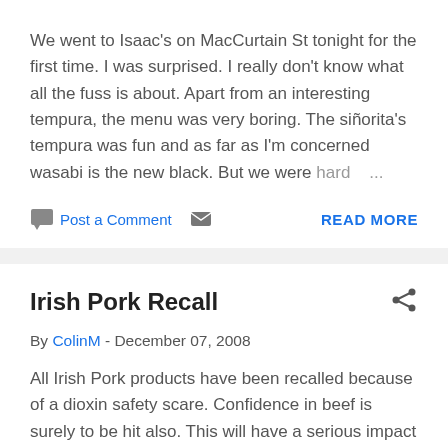We went to Isaac's on MacCurtain St tonight for the first time. I was surprised. I really don't know what all the fuss is about. Apart from an interesting tempura, the menu was very boring. The siñorita's tempura was fun and as far as I'm concerned wasabi is the new black. But we were hard ...
Post a Comment   READ MORE
Irish Pork Recall
By ColinM - December 07, 2008
All Irish Pork products have been recalled because of a dioxin safety scare. Confidence in beef is surely to be hit also. This will have a serious impact on these industries. Ironically I have been finding it increasingly more difficult to actually buy Irish pork and beef. Whenever I go to the